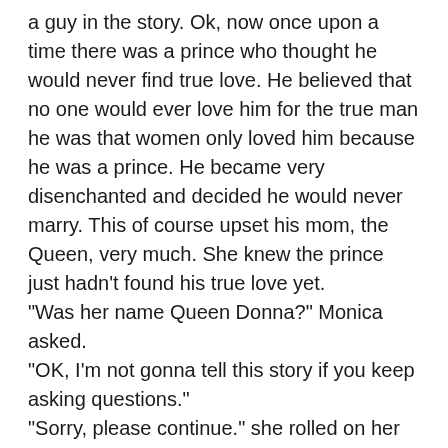a guy in the story. Ok, now once upon a time there was a prince who thought he would never find true love. He believed that no one would ever love him for the true man he was that women only loved him because he was a prince. He became very disenchanted and decided he would never marry. This of course upset his mom, the Queen, very much. She knew the prince just hadn't found his true love yet.
"Was her name Queen Donna?" Monica asked.
"OK, I'm not gonna tell this story if you keep asking questions."
"Sorry, please continue." she rolled on her side so she could see him in the shadows.
"So one day, the Queen was at the marketplace when she suddenly spotted a woman in distress. There was just something about the woman that touched the Queen's heart so she spoke to her. The woman told the Queen all about the hardships that had befallen her and the Queen was touched by her plight. She asked the